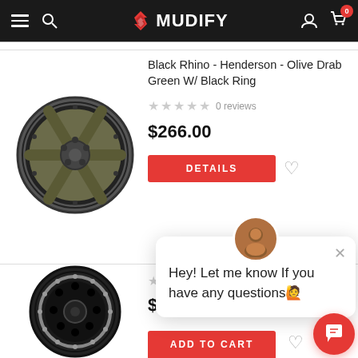MUDIFY — navigation header with menu, search, logo, user icon, cart (0 items)
[Figure (photo): Olive drab green off-road wheel with black beadlock ring — Black Rhino Henderson]
Black Rhino - Henderson - Olive Drab Green W/ Black Ring
0 reviews
$266.00
DETAILS
[Figure (photo): Black off-road wheel with silver bolt-ring beadlock — second product]
0 reviews
$396.00
Hey! Let me know If you have any questions🙋
ADD TO CART